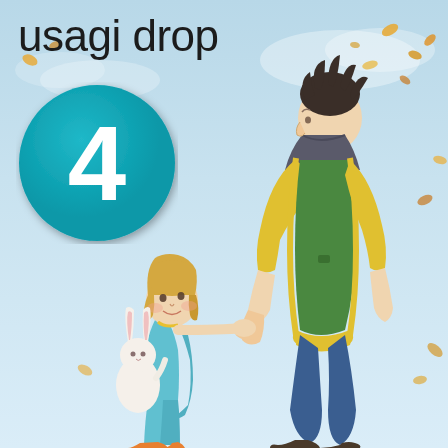[Figure (illustration): Anime-style cover art for 'Usagi Drop' volume 4. Light blue sky background with autumn leaves falling. A tall young man with dark spiky hair, wearing a green vest over a yellow hoodie and blue jeans, stands with his back turned, looking over his shoulder. A small blonde girl in a light blue jacket holds a white rabbit stuffed animal and looks up at the man while holding his hand. In the upper left, a large teal circle badge with the number 4 in white. The title 'usagi drop' appears in black text at the top left.]